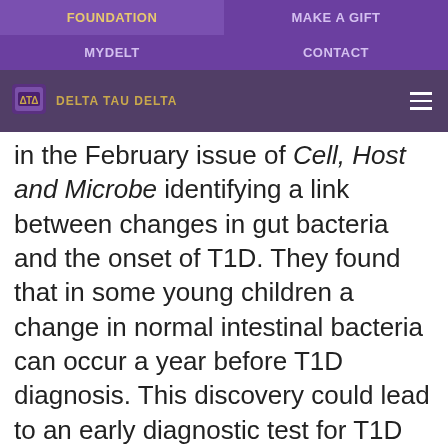FOUNDATION | MAKE A GIFT | MYDELT | CONTACT
[Figure (logo): Delta Tau Delta shield logo with text 'DELTA TAU DELTA' on dark purple overlay bar with hamburger menu icon]
in the February issue of Cell, Host and Microbe identifying a link between changes in gut bacteria and the onset of T1D. They found that in some young children a change in normal intestinal bacteria can occur a year before T1D diagnosis. This discovery could lead to an early diagnostic test for T1D and development of therapies that prevent the development of symptomatic T1D.
Complications
The JDRF Complications Program supports the development of therapies and prognostic tools that help prevent, treat or reverse diabetes-related eye